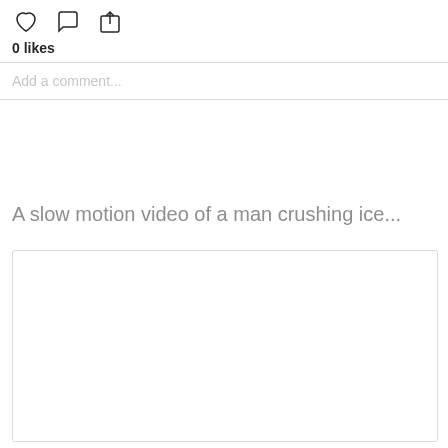[Figure (other): Instagram action icons: heart (like), speech bubble (comment), share (upload arrow)]
0 likes
Add a comment...
A slow motion video of a man crushing ice...
[Figure (other): Blank white post card/media placeholder with light border]